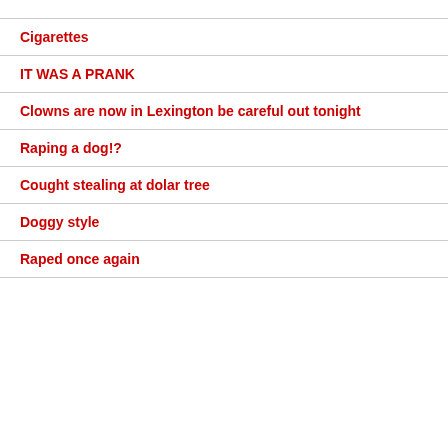Cigarettes
IT WAS A PRANK
Clowns are now in Lexington be careful out tonight
Raping a dog!?
Cought stealing at dolar tree
Doggy style
Raped once again